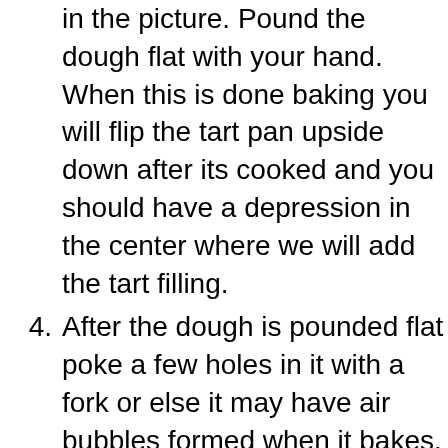(continuation of item 3) in the picture. Pound the dough flat with your hand. When this is done baking you will flip the tart pan upside down after its cooked and you should have a depression in the center where we will add the tart filling.
4. After the dough is pounded flat poke a few holes in it with a fork or else it may have air bubbles formed when it bakes. Bake in the oven for 15 minutes or until nice golden shape.
5. You can use either a whipped topping cream cheese filling or a danish dessert filling. If you choose the whipped cream cheese topping just beat the two together until